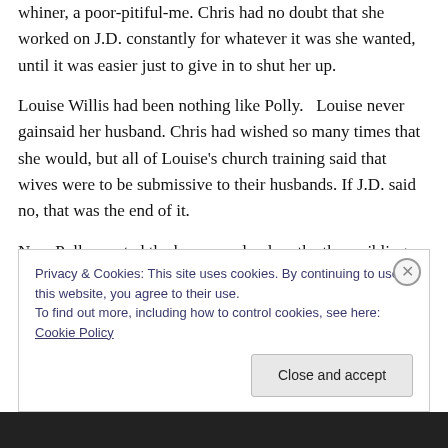Chris was convinced of that. No, Polly was a wheedler, a whiner, a poor-pitiful-me. Chris had no doubt that she worked on J.D. constantly for whatever it was she wanted, until it was easier just to give in to shut her up.
Louise Willis had been nothing like Polly.   Louise never gainsaid her husband. Chris had wished so many times that she would, but all of Louise's church training said that wives were to be submissive to their husbands. If J.D. said no, that was the end of it.
Now Polly wanted the house, and unless the three siblings
Privacy & Cookies: This site uses cookies. By continuing to use this website, you agree to their use.
To find out more, including how to control cookies, see here: Cookie Policy
Close and accept